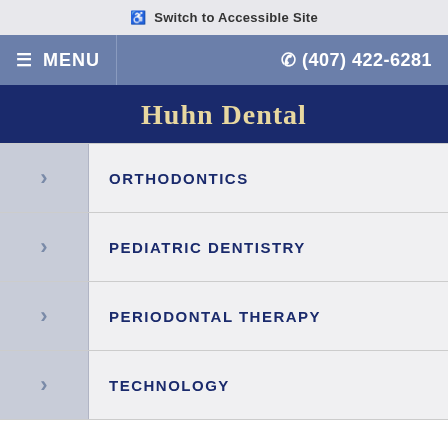Switch to Accessible Site
≡ MENU   (407) 422-6281
Huhn Dental
ORTHODONTICS
PEDIATRIC DENTISTRY
PERIODONTAL THERAPY
TECHNOLOGY
Contact Us